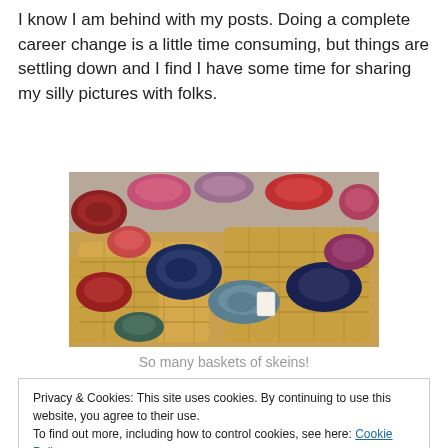I know I am behind with my posts. Doing a complete career change is a little time consuming, but things are settling down and I find I have some time for sharing my silly pictures with folks.
[Figure (photo): Photograph of multiple wicker baskets filled with colorful skeins of yarn in various shades including red, blue, teal, pink, and purple at what appears to be a market or craft fair.]
So many baskets of skeins!
Privacy & Cookies: This site uses cookies. By continuing to use this website, you agree to their use. To find out more, including how to control cookies, see here: Cookie Policy
group of ladies, as that meant we could share booth time.